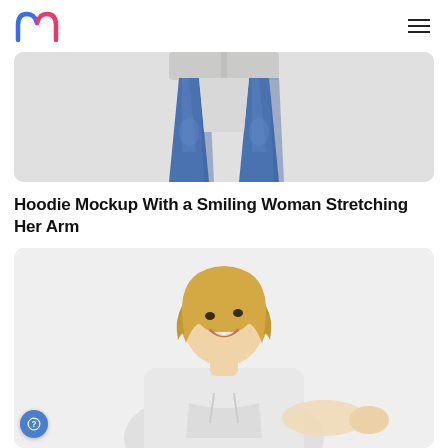Mockup logo and navigation menu
[Figure (photo): Bottom portion of a person wearing blue jeans, cropped at the torso, against a light gray background.]
Hoodie Mockup With a Smiling Woman Stretching Her Arm
[Figure (photo): Smiling young woman with blonde bob hair wearing a white hoodie, stretching her arm toward the camera against a white background.]